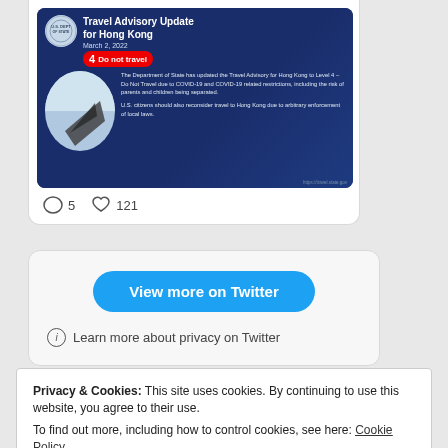[Figure (screenshot): Travel Advisory Update for Hong Kong infographic from U.S. Department of State, dated March 2, 2022. Level 4 - Do Not Travel due to COVID-19 and COVID-19 related restrictions. Shows airplane wing through window and Hong Kong harbor.]
5  121
View more on Twitter
Learn more about privacy on Twitter
Privacy & Cookies: This site uses cookies. By continuing to use this website, you agree to their use.
To find out more, including how to control cookies, see here: Cookie Policy
Close and accept